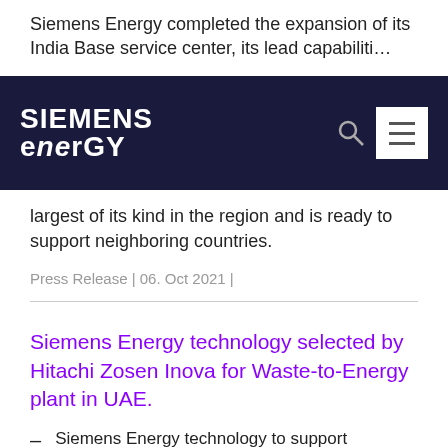Siemens Energy completed the expansion of its India Base service center, its lead capabilities
[Figure (screenshot): Siemens Energy navigation bar with logo on dark navy background, search icon, and hamburger menu button]
largest of its kind in the region and is ready to support neighboring countries.
Press Release | 06. Oct 2021 |
Siemens Energy technology selected by Hitachi Zosen Inova for Waste-to-Energy plant in UAE.
Siemens Energy technology to support